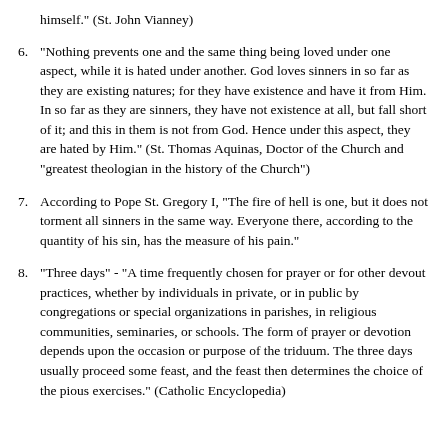himself." (St. John Vianney)
6. "Nothing prevents one and the same thing being loved under one aspect, while it is hated under another. God loves sinners in so far as they are existing natures; for they have existence and have it from Him. In so far as they are sinners, they have not existence at all, but fall short of it; and this in them is not from God. Hence under this aspect, they are hated by Him." (St. Thomas Aquinas, Doctor of the Church and "greatest theologian in the history of the Church")
7. According to Pope St. Gregory I, "The fire of hell is one, but it does not torment all sinners in the same way. Everyone there, according to the quantity of his sin, has the measure of his pain."
8. "Three days" - "A time frequently chosen for prayer or for other devout practices, whether by individuals in private, or in public by congregations or special organizations in parishes, in religious communities, seminaries, or schools. The form of prayer or devotion depends upon the occasion or purpose of the triduum. The three days usually proceed some feast, and the feast then determines the choice of the pious exercises." (Catholic Encyclopedia)